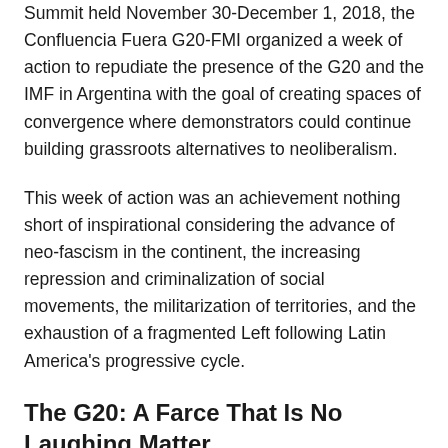Summit held November 30-December 1, 2018, the Confluencia Fuera G20-FMI organized a week of action to repudiate the presence of the G20 and the IMF in Argentina with the goal of creating spaces of convergence where demonstrators could continue building grassroots alternatives to neoliberalism.
This week of action was an achievement nothing short of inspirational considering the advance of neo-fascism in the continent, the increasing repression and criminalization of social movements, the militarization of territories, and the exhaustion of a fragmented Left following Latin America's progressive cycle.
The G20: A Farce That Is No Laughing Matter